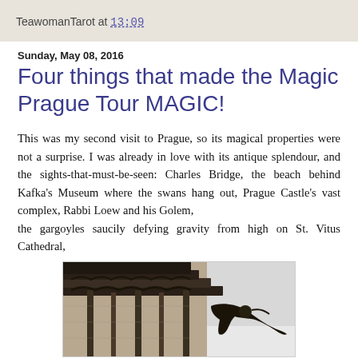TeawomanTarot at 13:09
Sunday, May 08, 2016
Four things that made the Magic Prague Tour MAGIC!
This was my second visit to Prague, so its magical properties were not a surprise. I was already in love with its antique splendour, and the sights-that-must-be-seen: Charles Bridge, the beach behind Kafka's Museum where the swans hang out, Prague Castle's vast complex, Rabbi Loew and his Golem, the gargoyles saucily defying gravity from high on St. Vitus Cathedral,
[Figure (photo): Close-up photograph of gothic stone gargoyle architectural detail on a cathedral building, dark stone carvings against a light sky]